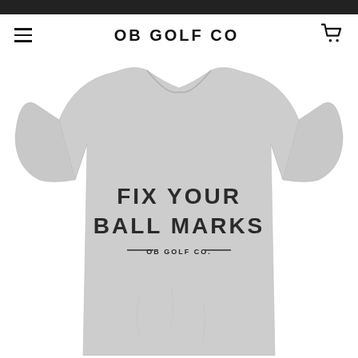OB GOLF CO
[Figure (photo): Gray t-shirt with text 'FIX YOUR BALL MARKS' and 'OB GOLF CO.' printed on the chest area]